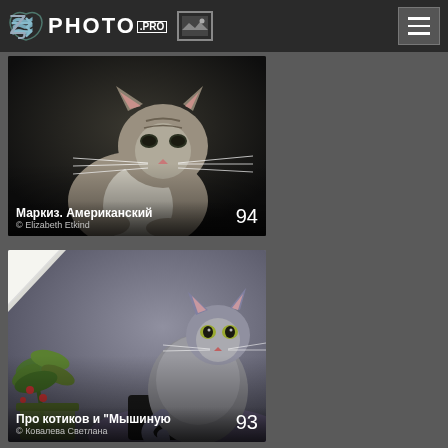PHOTO.PRO
[Figure (photo): Photo card showing a tabby kitten with whiskers against a dark background, titled 'Маркиз. Американский', number 94, by Elizabeth Etkind]
[Figure (photo): Photo card showing a fluffy cat sitting near green plants against a blurred background, titled 'Про котиков и "Мышиную"', number 93, by Ковалева Светлана]